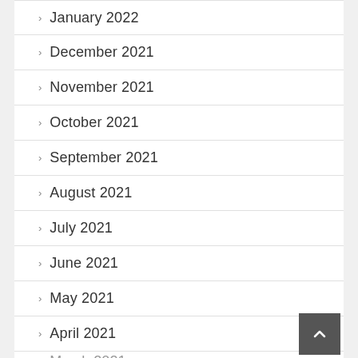January 2022
December 2021
November 2021
October 2021
September 2021
August 2021
July 2021
June 2021
May 2021
April 2021
March 2021 (partial)